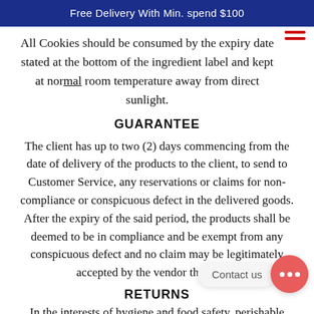Free Delivery With Min. spend $100
All Cookies should be consumed by the expiry date stated at the bottom of the ingredient label and kept at normal room temperature away from direct sunlight.
GUARANTEE
The client has up to two (2) days commencing from the date of delivery of the products to the client, to send to Customer Service, any reservations or claims for non-compliance or conspicuous defect in the delivered goods. After the expiry of the said period, the products shall be deemed to be in compliance and be exempt from any conspicuous defect and no claim may be legitimately accepted by the vendor thereafter.
RETURNS
In the interests of hygiene and food safety, perishable